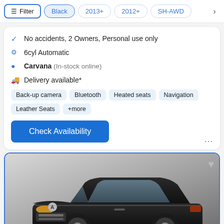Filter | Black | 2013+ | 2012+ | SH-AWD
No accidents, 2 Owners, Personal use only
6cyl Automatic
Carvana (In-stock online)
Delivery available*
Back-up camera | Bluetooth | Heated seats | Navigation | Leather Seats | +more
Check Availability
[Figure (photo): Black Acura TL sedan photographed from front-left angle against a gray gradient background with Carvana watermark]